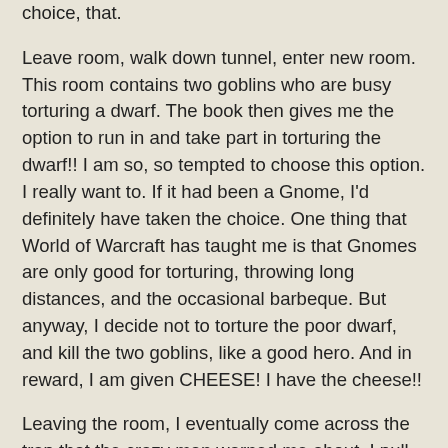choice, that.
Leave room, walk down tunnel, enter new room. This room contains two goblins who are busy torturing a dwarf. The book then gives me the option to run in and take part in torturing the dwarf!! I am so, so tempted to choose this option. I really want to. If it had been a Gnome, I'd definitely have taken the choice. One thing that World of Warcraft has taught me is that Gnomes are only good for torturing, throwing long distances, and the occasional barbeque. But anyway, I decide not to torture the poor dwarf, and kill the two goblins, like a good hero. And in reward, I am given CHEESE! I have the cheese!!
Leaving the room, I eventually come across the trap that the crazy man warned me about. I pull the right-most lever, and a portcullis raises, allowing me to continue. I then make a number of choices between turning west, north and other directions, which I didn't bother to note down, because that makes for the most boring playthroughs ever, "First I went north, then I went east, then I went east again", sod that! So I ran around blindly for a bit. Until I ran into a crazy barbarian.